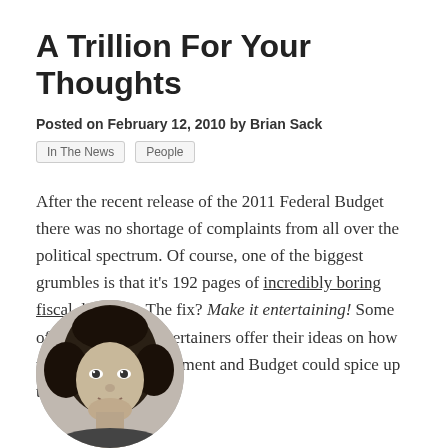A Trillion For Your Thoughts
Posted on February 12, 2010 by Brian Sack
In The News
People
After the recent release of the 2011 Federal Budget there was no shortage of complaints from all over the political spectrum. Of course, one of the biggest grumbles is that it's 192 pages of incredibly boring fiscal drudgery. The fix? Make it entertaining! Some of America's top entertainers offer their ideas on how the Office of Management and Budget could spice up this dreary affair:
[Figure (photo): Black and white circular portrait photo of a person with curly dark hair]